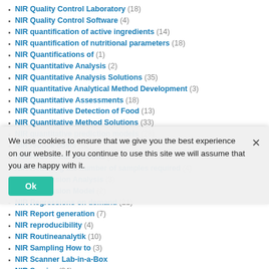NIR Quality Control Laboratory (18)
NIR Quality Control Software (4)
NIR quantification of active ingredients (14)
NIR quantification of nutritional parameters (18)
NIR Quantifications of (1)
NIR Quantitative Analysis (2)
NIR Quantitative Analysis Solutions (35)
NIR quantitative Analytical Method Development (3)
NIR Quantitative Assessments (18)
NIR Quantitative Detection of Food (13)
NIR Quantitative Method Solutions (33)
NIR quantitative prediction models (28)
NIR reduce costs (32)
NIR Reduce lab workload (25)
NIR Reducing the number of samples required (4)
NIR Regression Analysis (3)
NIR Regression Model (2)
NIR Regressions on demand (21)
NIR Report generation (7)
NIR reproducibility (4)
NIR Routineanalytik (10)
NIR Sampling How to (3)
NIR Scanner Lab-in-a-Box
NIR Service (84)
NIR smart sensors (3)
We use cookies to ensure that we give you the best experience on our website. If you continue to use this site we will assume that you are happy with it.